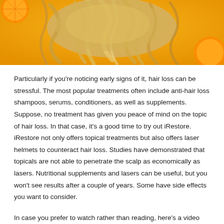[Figure (photo): Photo of blonde wavy hair spread out on a bright yellow/orange background with orange slices visible at corners]
Particularly if you’re noticing early signs of it, hair loss can be stressful. The most popular treatments often include anti-hair loss shampoos, serums, conditioners, as well as supplements. Suppose, no treatment has given you peace of mind on the topic of hair loss. In that case, it’s a good time to try out iRestore. iRestore not only offers topical treatments but also offers laser helmets to counteract hair loss. Studies have demonstrated that topicals are not able to penetrate the scalp as economically as lasers. Nutritional supplements and lasers can be useful, but you won’t see results after a couple of years. Some have side effects you want to consider.
In case you prefer to watch rather than reading, here’s a video from this channel Glam Girl Gabi on YouTube which also covers an